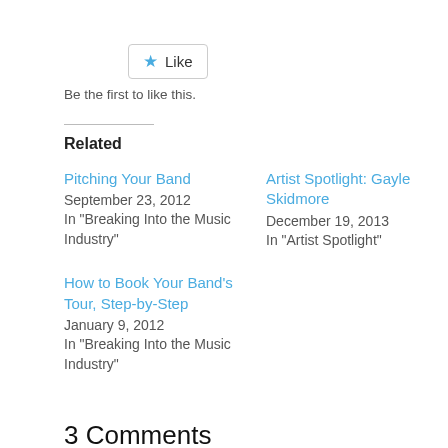[Figure (other): Like button widget with blue star icon and 'Like' label]
Be the first to like this.
Related
Pitching Your Band
September 23, 2012
In "Breaking Into the Music Industry"
Artist Spotlight: Gayle Skidmore
December 19, 2013
In "Artist Spotlight"
How to Book Your Band's Tour, Step-by-Step
January 9, 2012
In "Breaking Into the Music Industry"
3 Comments
treyrogueband says: